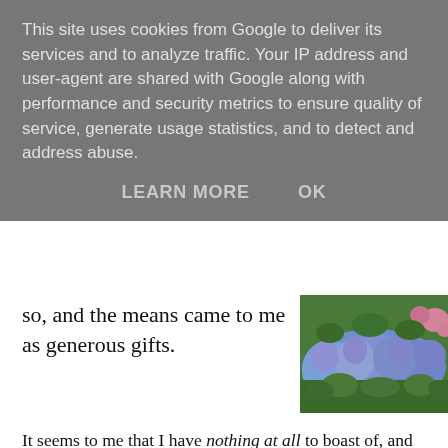This site uses cookies from Google to deliver its services and to analyze traffic. Your IP address and user-agent are shared with Google along with performance and security metrics to ensure quality of service, generate usage statistics, and to detect and address abuse.
LEARN MORE   OK
so, and the means came to me as generous gifts.
[Figure (photo): A garden bed with dense purple/blue flowering plants (likely agapanthus or muscari) with green foliage and pink flowers in the background]
It seems to me that I have nothing at all to boast of, and absolutely everything to be grateful for. And look around at the world we inhabit! See the beauty of the sky, sun shining on leaves, the frost on twigs. Smell the fragrant orange blossom, the wonderful aroma of freshly cut grass, or bread straight from the oven. Ah, what a wonderful, wonderful world. And what a wonderful Creator who brought it all into being and planted me here amongst it for a season. I earned none of this!